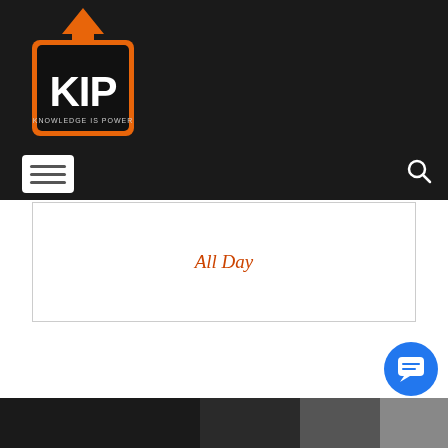[Figure (logo): KIP – Knowledge Is Power logo: black square with orange border and upward arrow on top, white bold text KIP, small text KNOWLEDGE IS POWER below]
[Figure (other): Navigation bar with hamburger menu icon on left and search icon on right, on dark background]
All Day
[Figure (other): Blue circular chat/message button in bottom right corner]
[Figure (photo): Dark photographic image strip at the bottom of the page]